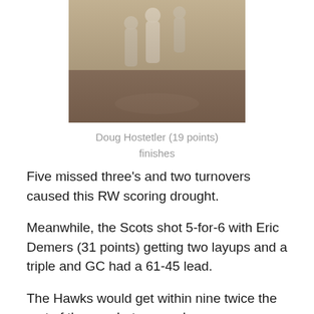[Figure (photo): Basketball game action photo showing players on court]
Doug Hostetler (19 points) finishes
Five missed three's and two turnovers caused this RW scoring drought.
Meanwhile, the Scots shot 5-for-6 with Eric Demers (31 points) getting two layups and a triple and GC had a 61-45 lead.
The Hawks would get within nine twice the rest of the way but never closer.
“Every time we made a run, they answered it,” said Coach Tully.